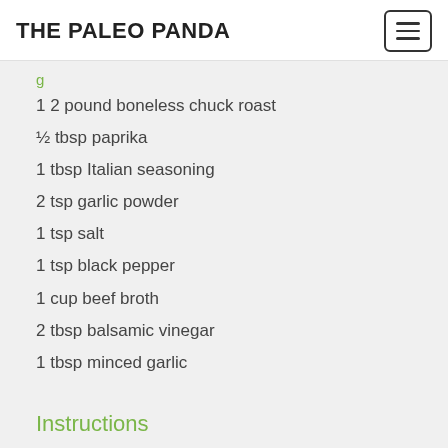THE PALEO PANDA
1 2 pound boneless chuck roast
½ tbsp paprika
1 tbsp Italian seasoning
2 tsp garlic powder
1 tsp salt
1 tsp black pepper
1 cup beef broth
2 tbsp balsamic vinegar
1 tbsp minced garlic
Instructions
1. Make the rub for the roast by combining paprika, Italian seasoning, garlic powder, salt and black pepper.